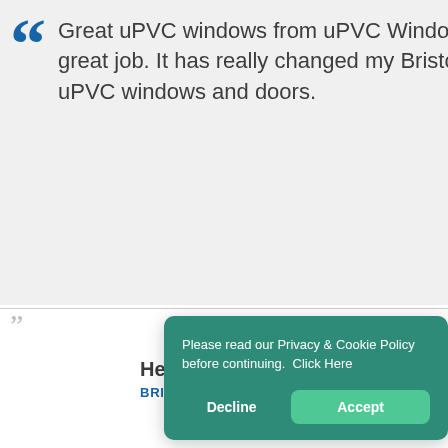Great uPVC windows from uPVC Windows Bristol, the really did a great job. It has really changed my Bristol with a whole new set of uPVC windows and doors.
Henry White
BRISTOL
Have Questions About Our Services?
Contact uPVC Today for uPV Bristol.
Please read our Privacy & Cookie Policy before continuing.  Click Here
Decline    Accept